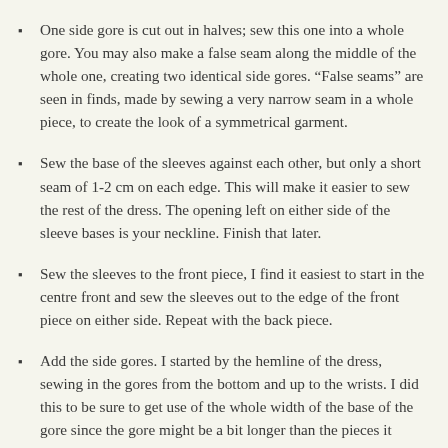One side gore is cut out in halves; sew this one into a whole gore. You may also make a false seam along the middle of the whole one, creating two identical side gores. “False seams” are seen in finds, made by sewing a very narrow seam in a whole piece, to create the look of a symmetrical garment.
Sew the base of the sleeves against each other, but only a short seam of 1-2 cm on each edge. This will make it easier to sew the rest of the dress. The opening left on either side of the sleeve bases is your neckline. Finish that later.
Sew the sleeves to the front piece, I find it easiest to start in the centre front and sew the sleeves out to the edge of the front piece on either side. Repeat with the back piece.
Add the side gores. I started by the hemline of the dress, sewing in the gores from the bottom and up to the wrists. I did this to be sure to get use of the whole width of the base of the gore since the gore might be a bit longer than the pieces it fastens against (I guess this was also the reason I made my wrist cf so small, I